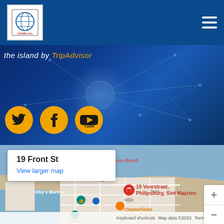[Figure (screenshot): Website header with logo on left and hamburger menu icon on right, dark blue background]
the island by TripAdvisor
[Figure (screenshot): Social media icons: Twitter, Facebook, YouTube on orange circles against dark blue network background]
[Figure (map): Google Maps showing 19 Voorstraat, Philipsburg, Sint Maarten with map popup showing '19 Front St' and 'View larger map', showing Bobby's Marina, Chesterfields Restaurant & Bar, Pelican, VINEYARD, Tropical Road labels]
Keyboard shortcuts   Map data ©2022   Terms of Use